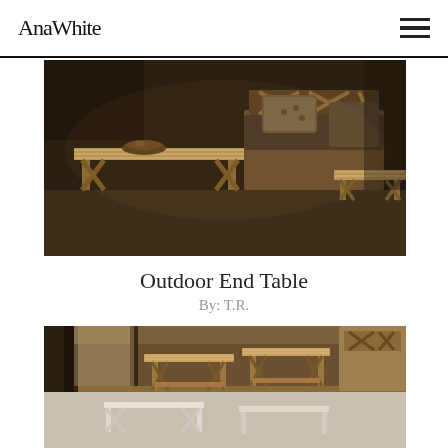AnaWhite
[Figure (photo): Outdoor wooden furniture set on a porch at night: a rustic farmhouse-style coffee table with X-brace sides and a decorative bowl on top, an armchair with X-back detail and cushions, and a smaller end table on the right. Warm amber lighting.]
Outdoor End Table
By: T.R.
[Figure (photo): Multiple wooden outdoor end tables photographed indoors, showing construction details including X-brace sides, slatted tops, and lower shelf. Natural wood color. Second image shows white-painted version.]